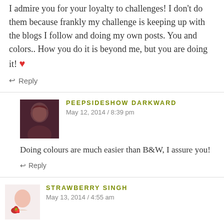I admire you for your loyalty to challenges! I don't do them because frankly my challenge is keeping up with the blogs I follow and doing my own posts. You and colors.. How you do it is beyond me, but you are doing it! ❤
↩ Reply
PEEPSIDESHOW DARKWARD
May 12, 2014 / 8:39 pm
Doing colours are much easier than B&W, I assure you!
↩ Reply
STRAWBERRY SINGH
May 13, 2014 / 4:55 am
eeewwwwwww teal! 😛 LOL actually looks great on you. I